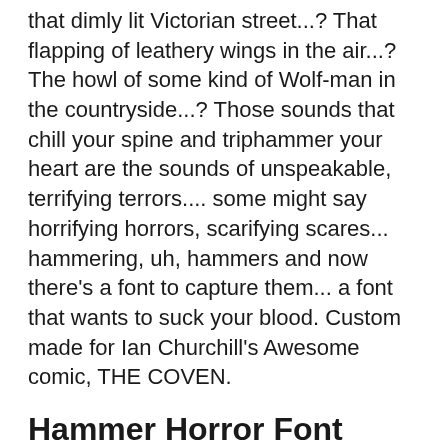that dimly lit Victorian street...? That flapping of leathery wings in the air...? The howl of some kind of Wolf-man in the countryside...? Those sounds that chill your spine and triphammer your heart are the sounds of unspeakable, terrifying terrors.... some might say horrifying horrors, scarifying scares... hammering, uh, hammers and now there's a font to capture them... a font that wants to suck your blood. Custom made for Ian Churchill's Awesome comic, THE COVEN.
Hammer Horror Font families
The Hammer Horror includes the following font families: